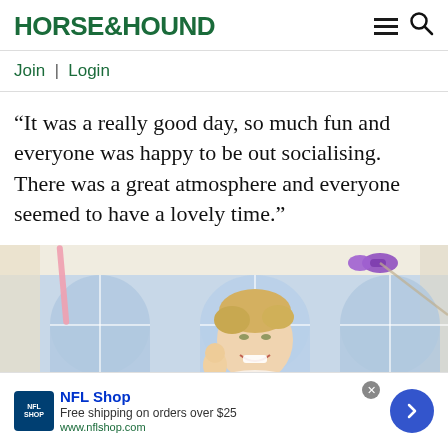HORSE&HOUND
Join | Login
“It was a really good day, so much fun and everyone was happy to be out socialising. There was a great atmosphere and everyone seemed to have a lovely time.”
[Figure (photo): Woman with short blonde hair smiling at an event inside a marquee with arched windows and colourful ribbon decorations]
NFL Shop
Free shipping on orders over $25
www.nflshop.com